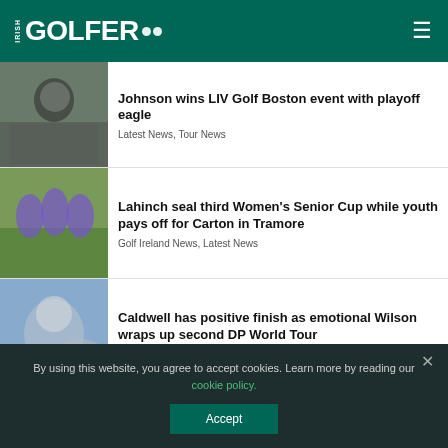IRISH GOLFER
Johnson wins LIV Golf Boston event with playoff eagle
Latest News, Tour News
Lahinch seal third Women's Senior Cup while youth pays off for Carton in Tramore
Golf Ireland News, Latest News
Caldwell has positive finish as emotional Wilson wraps up second DP World Tour
Golf Ireland RSS, Latest News, Tour News
By using this website, you agree to accept cookies. Learn more by reading our cookie policy.